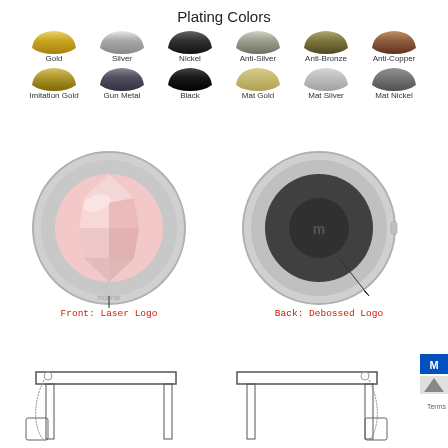Plating Colors
[Figure (illustration): Two rows of curved metal bar samples showing 12 plating colors: Gold, Silver, Nickel, Anti-Silver, Anti-Bronze, Anti-Copper (top row), Imitation Gold, Gun Metal, Black, Mat Gold, Mat Silver, Mat Nickel (bottom row)]
[Figure (photo): Front view of a round silver handbag hook with pink crystal center and laser engraved logo reading 'monnar']
Front: Laser Logo
[Figure (photo): Back view of a round silver handbag hook with dark gray textured center and debossed logo]
Back: Debossed Logo
[Figure (illustration): Two line-art diagrams showing a handbag hook in use on a table edge, with the hook hanging a bag from both sides of the table]